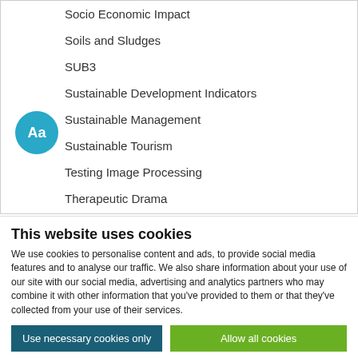Socio Economic Impact
Soils and Sludges
SUB3
Sustainable Development Indicators
Sustainable Management
Sustainable Tourism
Testing Image Processing
Therapeutic Drama
Tourism Constraints
This website uses cookies
We use cookies to personalise content and ads, to provide social media features and to analyse our traffic. We also share information about your use of our site with our social media, advertising and analytics partners who may combine it with other information that you've provided to them or that they've collected from your use of their services.
Use necessary cookies only
Allow all cookies
Show details